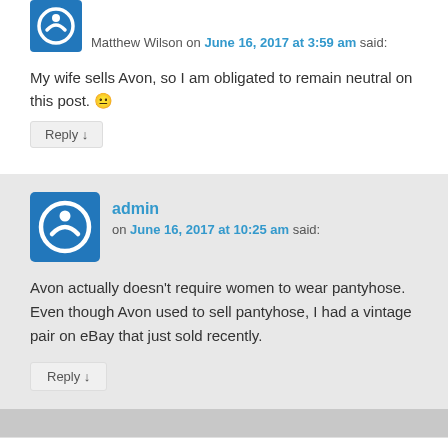[Figure (illustration): Blue square avatar with circular power-button icon for user Matthew Wilson]
Matthew Wilson on June 16, 2017 at 3:59 am said:
My wife sells Avon, so I am obligated to remain neutral on this post. 😐
Reply ↓
[Figure (illustration): Blue square avatar with circular power-button icon for user admin]
admin on June 16, 2017 at 10:25 am said:
Avon actually doesn't require women to wear pantyhose. Even though Avon used to sell pantyhose, I had a vintage pair on eBay that just sold recently.
Reply ↓